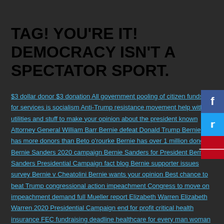TAG! YOU'RE IT! DEMOCRACY ISN'T A SPECTATOR SPORT.
$3 dollar donor $3 donation All government pooling of citizen funds for services is socialism Anti-Trump resistance movement help with utilities and stuff to make your opinion about the president known Attorney General William Barr Bernie defeat Donald Trump Bernie has more donors than Beto o'rourke Bernie has over 1 million donors Bernie Sanders 2020 campaign Bernie Sanders for President Bernie Sanders Presidential Campaign fact blog Bernie supporter issues survey Bernie v Cheatolini Bernie wants your opinion Best chance to beat Trump congressional action impeachment Congress to move on impeachment demand full Mueller report Elizabeth Warren Elizabeth Warren 2020 Presidential Campaign end for profit critical health insurance FEC fundraising deadline healthcare for every man woman child impeachment process update important small dollar donations individual donors count indivisible.org Joe Biden Presidential Campaign liberate the Democratic Party Medicare for all move on org moveon petition Mueller investigation Results mueller report need to impeach Need to impeach donald trump need to vote out Republicans Opinion Issues poll Petition to make Mueller report public release Mueller report
[Figure (infographic): Three social sharing buttons stacked vertically on the right side: Facebook (blue), Twitter (cyan), Pinterest (red)]